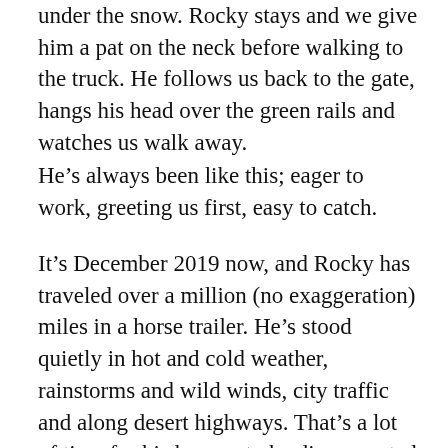under the snow. Rocky stays and we give him a pat on the neck before walking to the truck. He follows us back to the gate, hangs his head over the green rails and watches us walk away.
He’s always been like this; eager to work, greeting us first, easy to catch.
It’s December 2019 now, and Rocky has traveled over a million (no exaggeration) miles in a horse trailer. He’s stood quietly in hot and cold weather, rainstorms and wild winds, city traffic and along desert highways. That’s a lot of time for his hooves to be disconnected from the earth. He’s twenty-one next year and has been doing his job with excellence since he